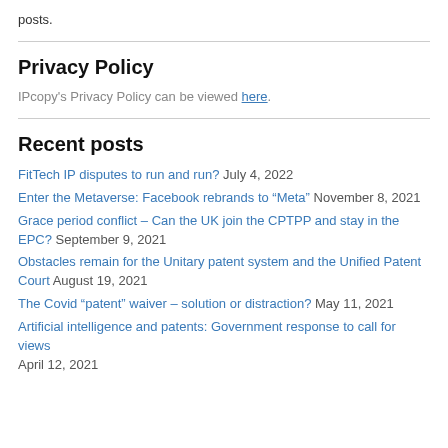posts.
Privacy Policy
IPcopy's Privacy Policy can be viewed here.
Recent posts
FitTech IP disputes to run and run? July 4, 2022
Enter the Metaverse: Facebook rebrands to “Meta” November 8, 2021
Grace period conflict – Can the UK join the CPTPP and stay in the EPC? September 9, 2021
Obstacles remain for the Unitary patent system and the Unified Patent Court August 19, 2021
The Covid “patent” waiver – solution or distraction? May 11, 2021
Artificial intelligence and patents: Government response to call for views April 12, 2021